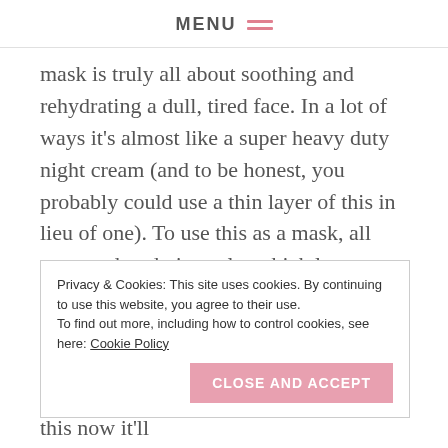MENU
mask is truly all about soothing and rehydrating a dull, tired face. In a lot of ways it’s almost like a super heavy duty night cream (and to be honest, you probably could use a thin layer of this in lieu of one). To use this as a mask, all you need to do is apply a thick layer to your skin, let it sit for as long as desired (at least 10 minutes to reap the full benefits), and either massage in the excess or wipe it away with a
Privacy & Cookies: This site uses cookies. By continuing to use this website, you agree to their use.
To find out more, including how to control cookies, see here: Cookie Policy
its masks, so if you go out and purchase this now it’ll